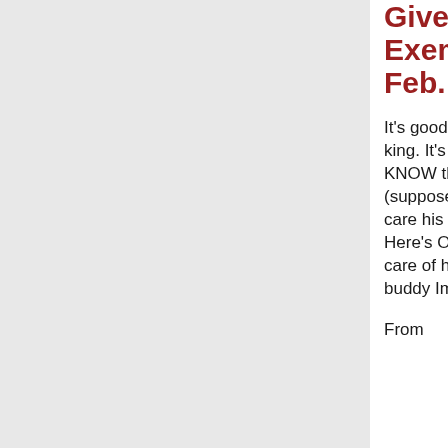Gives GE Exempt in Feb.
It's good to be the king. It's also good to KNOW the king: Bush (supposedly) took care his "oil buddies." Here's Obama taking care of his energy buddy Immelt.
From